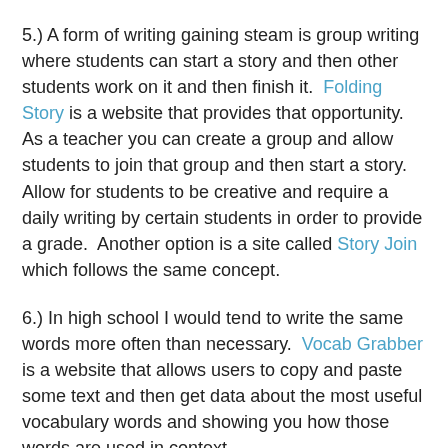5.) A form of writing gaining steam is group writing where students can start a story and then other students work on it and then finish it. Folding Story is a website that provides that opportunity. As a teacher you can create a group and allow students to join that group and then start a story. Allow for students to be creative and require a daily writing by certain students in order to provide a grade. Another option is a site called Story Join which follows the same concept.
6.) In high school I would tend to write the same words more often than necessary. Vocab Grabber is a website that allows users to copy and paste some text and then get data about the most useful vocabulary words and showing you how those words are used in context.
7.) Poetry was never my strongest form of writing, and I know that I am not alone. I always struggled with finding words that rhymed. I know rhyming is not the most important part of a poem, but for many students, to feel successful writing poetry, they want words to rhyme that make sense. Luckily there are several resources available. The Rhyming